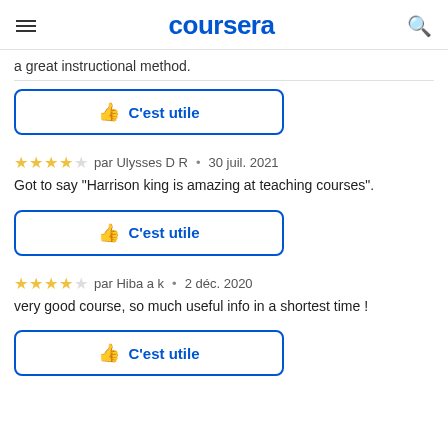coursera
a great instructional method.
👍 C'est utile
par Ulysses D R • 30 juil. 2021
Got to say "Harrison king is amazing at teaching courses".
👍 C'est utile
par Hiba a k • 2 déc. 2020
very good course, so much useful info in a shortest time !
👍 C'est utile